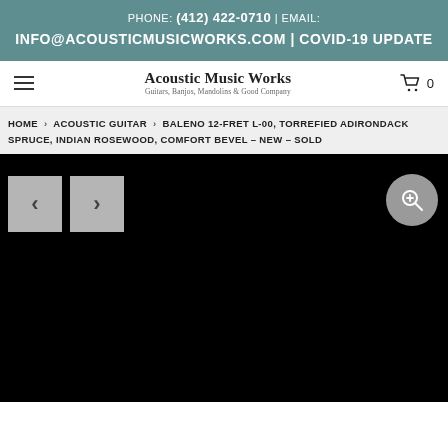PHONE: (412) 422-0710 | EMAIL: INFO@ACOUSTICMUSICWORKS.COM | COVID-19 UPDATE
[Figure (logo): Acoustic Music Works logo with text 'Guitars, Banjos, Mandolins & Good Company']
HOME > ACOUSTIC GUITAR > BALENO 12-FRET L-00, TORREFIED ADIRONDACK SPRUCE, INDIAN ROSEWOOD, COMFORT BEVEL - NEW - SOLD
[Figure (photo): Product image area showing a black background with navigation arrows (< >) on the left and a zoom button on the right]